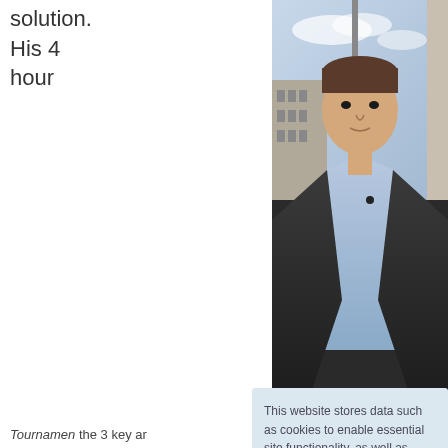solution.
His 4
hour
[Figure (photo): A man in a dark suit jacket and light blue shirt standing outdoors in front of buildings and sky]
Tournamen... the 3 key ar... study: calcu... developing ...
In this cour... endgame po... incredible t... assess midc...
This website stores data such as cookies to enable essential site functionality, as well as marketing, personalization, and analytics.
Privacy Policy
ACCEPT
DENY